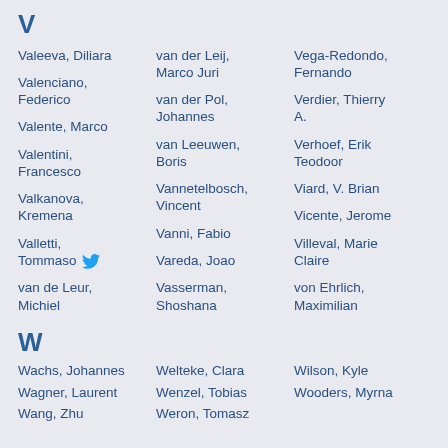V
Valeeva, Diliara
van der Leij, Marco Juri
Vega-Redondo, Fernando
Valenciano, Federico
van der Pol, Johannes
Verdier, Thierry A.
Valente, Marco
van Leeuwen, Boris
Verhoef, Erik Teodoor
Valentini, Francesco
Vannetelbosch, Vincent
Viard, V. Brian
Valkanova, Kremena
Vanni, Fabio
Vicente, Jerome
Valletti, Tommaso
Vareda, Joao
Villeval, Marie Claire
van de Leur, Michiel
Vasserman, Shoshana
von Ehrlich, Maximilian
W
Wachs, Johannes
Welteke, Clara
Wilson, Kyle
Wagner, Laurent
Wenzel, Tobias
Wooders, Myrna
Wang, Zhu
Weron, Tomasz